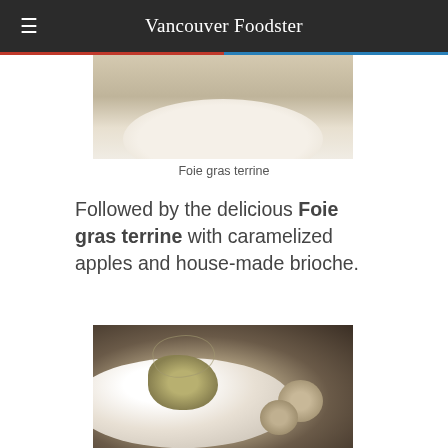Vancouver Foodster
[Figure (photo): Close-up photo of a foie gras terrine dish on a white plate, partially visible from top]
Foie gras terrine
Followed by the delicious Foie gras terrine with caramelized apples and house-made brioche.
[Figure (photo): Photo of a plated dish on a white oval plate with braised or pickled vegetable garnish and small scallops or dumplings, shot in a restaurant setting]